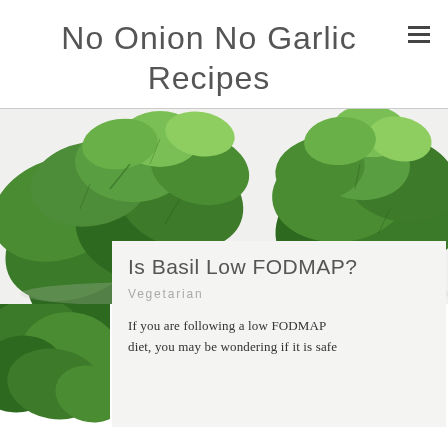No Onion No Garlic Recipes
[Figure (photo): Two bunches of fresh green basil plants on a white background, photographed from above showing lush leaves.]
Is Basil Low FODMAP?
Vegetarian
If you are following a low FODMAP diet, you may be wondering if it is safe